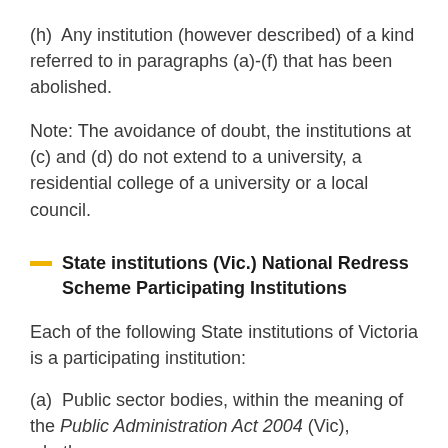(h)  Any institution (however described) of a kind referred to in paragraphs (a)-(f) that has been abolished.
Note: The avoidance of doubt, the institutions at (c) and (d) do not extend to a university, a residential college of a university or a local council.
State institutions (Vic.) National Redress Scheme Participating Institutions
Each of the following State institutions of Victoria is a participating institution:
(a)  Public sector bodies, within the meaning of the Public Administration Act 2004 (Vic), whether